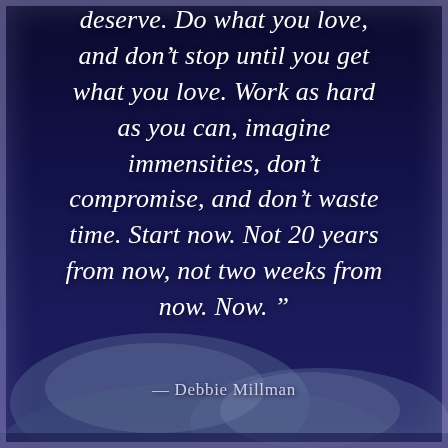[Figure (illustration): Dark navy blue background with purple-tinted border glow and soft cloud/fog shapes in the lower portion of the image]
deserve. Do what you love, and don't stop until you get what you love. Work as hard as you can, imagine immensities, don't compromise, and don't waste time. Start now. Not 20 years from now, not two weeks from now. Now.”
— Debbie Millman